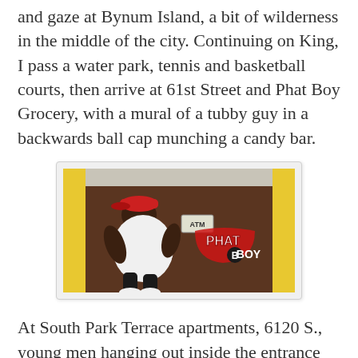and gaze at Bynum Island, a bit of wilderness in the middle of the city. Continuing on King, I pass a water park, tennis and basketball courts, then arrive at 61st Street and Phat Boy Grocery, with a mural of a tubby guy in a backwards ball cap munching a candy bar.
[Figure (photo): Photograph of a mural on the exterior wall of Phat Boy Grocery showing a large figure wearing a backwards red ball cap and white t-shirt, with the text 'PHAT BOY' painted in the mural. An ATM sign is visible.]
At South Park Terrace apartments, 6120 S., young men hanging out inside the entrance arch are shooting dice and shouting. I'm running out of time before I have to return to the North Side to meet up with friends for the maiden voyage